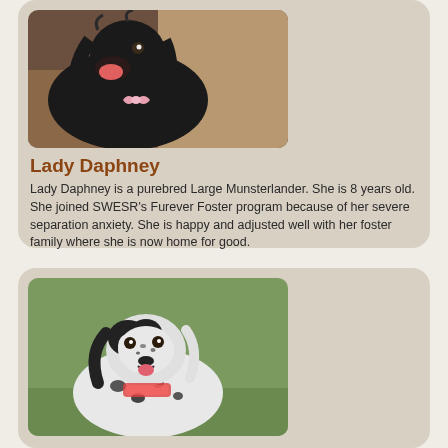[Figure (photo): Black dog with long fur and a pink bow, looking upward, photographed indoors]
Lady Daphney
Lady Daphney is a purebred Large Munsterlander. She is 8 years old. She joined SWESR's Furever Foster program because of her severe separation anxiety. She is happy and adjusted well with her foster family where she is now home for good.
[Figure (photo): Black and white spotted dog, English Setter type, sitting on grass looking forward]